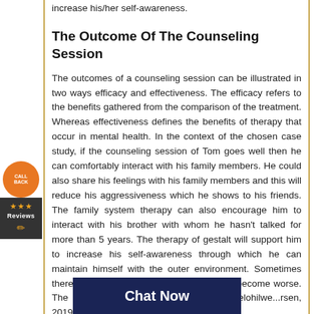increase his/her self-awareness.
The Outcome Of The Counseling Session
The outcomes of a counseling session can be illustrated in two ways efficacy and effectiveness. The efficacy refers to the benefits gathered from the comparison of the treatment. Whereas effectiveness defines the benefits of therapy that occur in mental health. In the context of the chosen case study, if the counseling session of Tom goes well then he can comfortably interact with his family members. He could also share his feelings with his family members and this will reduce his aggressiveness which he shows to his friends. The family system therapy can also encourage him to interact with his brother with whom he hasn't talked for more than 5 years. The therapy of gestalt will support him to increase his self-awareness through which he can maintain himself with the outer environment. Sometimes there are negative outcomes as the clients become worse. The rate of a negative outcome is 5% (Selohilwe...rsen, 2019).